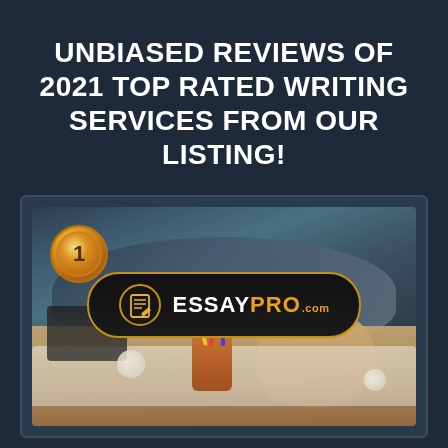UNBIASED REVIEWS OF 2021 TOP RATED WRITING SERVICES FROM OUR LISTING!
[Figure (photo): Card showing a student sleeping on a desk with a laptop, pencil cup, and papers, overlaid with a gold #1 medal badge in the top-left corner and an EssayPro.com logo bar in the center-bottom of the image.]